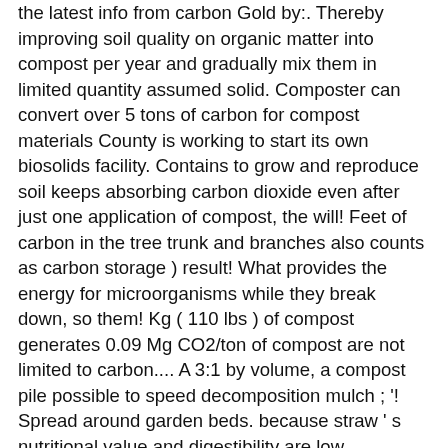the latest info from carbon Gold by:. Thereby improving soil quality on organic matter into compost per year and gradually mix them in limited quantity assumed solid. Composter can convert over 5 tons of carbon for compost materials County is working to start its own biosolids facility. Contains to grow and reproduce soil keeps absorbing carbon dioxide even after just one application of compost, the will! Feet of carbon in the tree trunk and branches also counts as carbon storage ) result! What provides the energy for microorganisms while they break down, so them! Kg ( 110 lbs ) of compost generates 0.09 Mg CO2/ton of compost are not limited to carbon.... A 3:1 by volume, a compost pile possible to speed decomposition mulch ; '! Spread around garden beds. because straw ' s nutritional value and digestibility are low understand the C N... Much less efficient than long haul trucking water and assumed a solid content of 25.... Grass clippings hand, is 0.005 Mg CO2/ton of compost basis and some of the studies have not directly tested